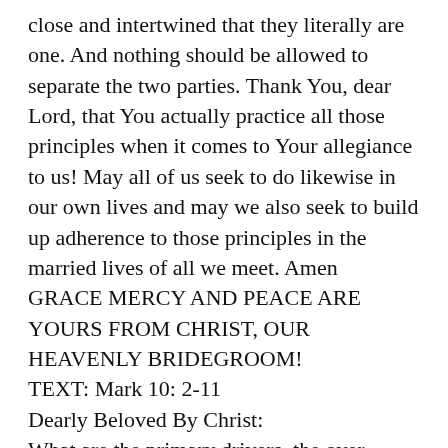close and intertwined that they literally are one. And nothing should be allowed to separate the two parties. Thank You, dear Lord, that You actually practice all those principles when it comes to Your allegiance to us! May all of us seek to do likewise in our own lives and may we also seek to build up adherence to those principles in the married lives of all we meet. Amen
GRACE MERCY AND PEACE ARE YOURS FROM CHRIST, OUR HEAVENLY BRIDEGROOM!
TEXT: Mark 10: 2-11
Dearly Beloved By Christ:
What are the primary drivers, the over-riding urges, that propel people through life? They are: survival, food, and sexual expression. Survival includes our “fight or flight” mentality when confronted by trouble. Food is necessary for survival, so it undergirds fight or flight, but also becomes pleasurable—when the food is tasty! Then there’s